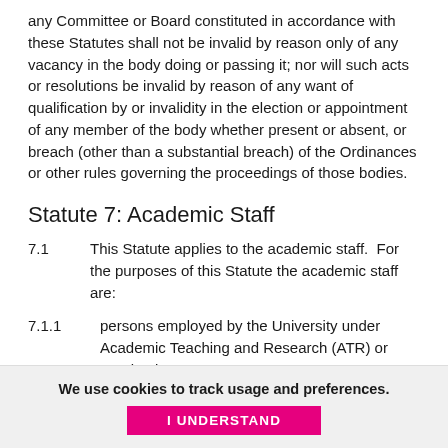any Committee or Board constituted in accordance with these Statutes shall not be invalid by reason only of any vacancy in the body doing or passing it; nor will such acts or resolutions be invalid by reason of any want of qualification by or invalidity in the election or appointment of any member of the body whether present or absent, or breach (other than a substantial breach) of the Ordinances or other rules governing the proceedings of those bodies.
Statute 7: Academic Staff
7.1    This Statute applies to the academic staff.  For the purposes of this Statute the academic staff are:
7.1.1    persons employed by the University under Academic Teaching and Research (ATR) or Academic
We use cookies to track usage and preferences.
I UNDERSTAND